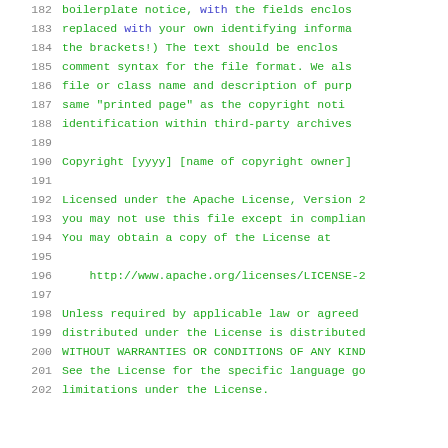182    boilerplate notice, with the fields enclos
183    replaced with your own identifying informa
184    the brackets!)  The text should be enclos
185    comment syntax for the file format. We als
186    file or class name and description of purp
187    same "printed page" as the copyright noti
188    identification within third-party archives
189
190    Copyright [yyyy] [name of copyright owner]
191
192    Licensed under the Apache License, Version 2
193    you may not use this file except in complian
194    You may obtain a copy of the License at
195
196        http://www.apache.org/licenses/LICENSE-2
197
198    Unless required by applicable law or agreed
199    distributed under the License is distributed
200    WITHOUT WARRANTIES OR CONDITIONS OF ANY KIND
201    See the License for the specific language go
202    limitations under the License.